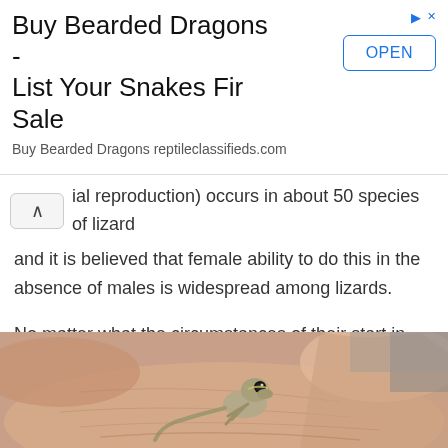[Figure (infographic): Advertisement banner: Buy Bearded Dragons - List Your Snakes Fir Sale. Buy Bearded Dragons reptileclassifieds.com. OPEN button on the right.]
...ial reproduction) occurs in about 50 species of lizard and it is believed that female ability to do this in the absence of males is widespread among lizards.
No matter what the circumstances of their start in life, baby lizards look like tiny versions of their parents.
[Figure (photo): Close-up photo of a tiny baby lizard sitting on a human hand, viewed from above. The small lizard has large eyes and is very small compared to the fingers.]